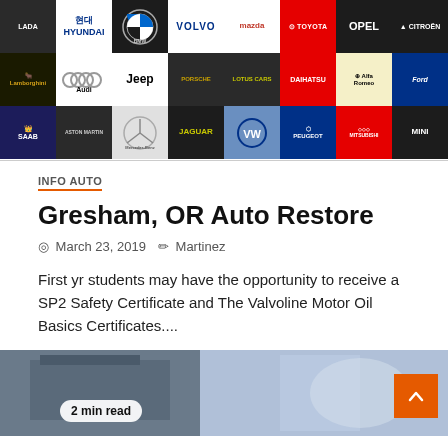[Figure (illustration): Grid of car brand logos in 3 rows by 8 columns: Row 1: LADA, Hyundai, BMW, Volvo, Mazda, Toyota, Opel, Citroen. Row 2: Lamborghini, Audi, Jeep, Porsche, Lotus Cars, Daihatsu, Alfa Romeo, Ford. Row 3: Saab, Aston Martin, Mercedes-Benz, Jaguar, VolksWagen, Peugeot, Mitsubishi, Mini.]
INFO AUTO
Gresham, OR Auto Restore
March 23, 2019   Martinez
First yr students may have the opportunity to receive a SP2 Safety Certificate and The Valvoline Motor Oil Basics Certificates....
[Figure (photo): Photo of an auto repair garage exterior with a '2 min read' badge overlay and orange scroll-to-top button.]